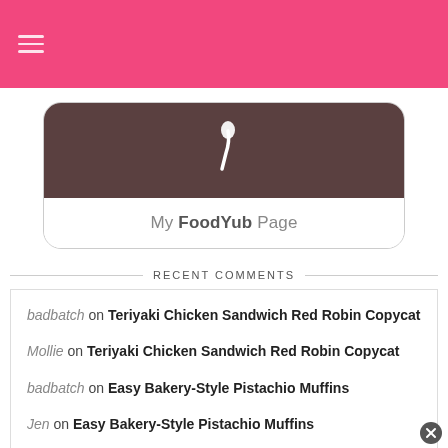[Figure (screenshot): Pink navigation bar with hamburger menu icon (three horizontal lines) on left side]
[Figure (logo): FoodYub logo card: dark brown top section with a white spoon icon, white bottom section with text 'My FoodYub Page']
RECENT COMMENTS
badbatch on Teriyaki Chicken Sandwich Red Robin Copycat
Mollie on Teriyaki Chicken Sandwich Red Robin Copycat
badbatch on Easy Bakery-Style Pistachio Muffins
Jen on Easy Bakery-Style Pistachio Muffins
Bbq rub seasoning on Chubby Hubby Ice Cream Recipe (No-Churn, Egg Free)